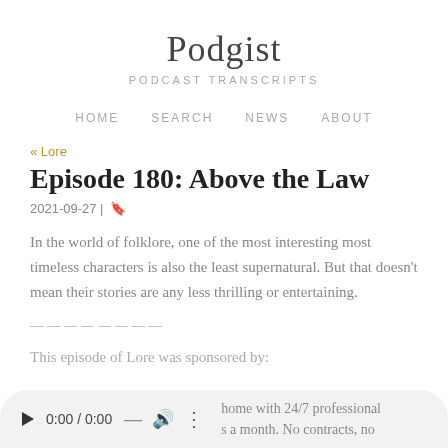Podgist
PODCAST TRANSCRIPTS
HOME   SEARCH   NEWS   ABOUT
« Lore
Episode 180: Above the Law
2021-09-27 | 🔖
In the world of folklore, one of the most interesting most timeless characters is also the least supernatural. But that doesn't mean their stories are any less thrilling or entertaining.
————————
This episode of Lore was sponsored by:
[Figure (other): Audio player widget showing play button, time 0:00 / 0:00, volume and more options icons, with overflow text 'home with 24/7 professional ... a month. No contracts, no']